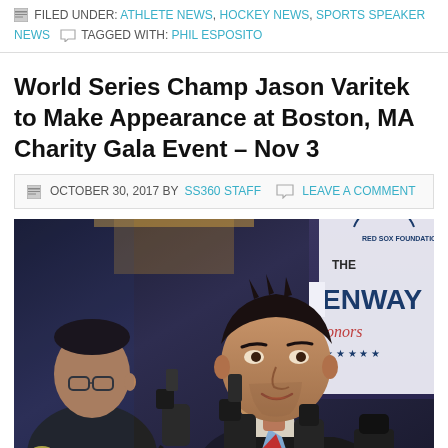FILED UNDER: ATHLETE NEWS, HOCKEY NEWS, SPORTS SPEAKER NEWS  TAGGED WITH: PHIL ESPOSITO
World Series Champ Jason Varitek to Make Appearance at Boston, MA Charity Gala Event – Nov 3
OCTOBER 30, 2017 BY SS360 STAFF  LEAVE A COMMENT
[Figure (photo): Jason Varitek speaking at a press conference with microphones in front of him, wearing a suit and tie. Two other men visible in the background. A 'The Fenway Honors' event banner with Red Sox Foundation branding is visible in the upper right.]